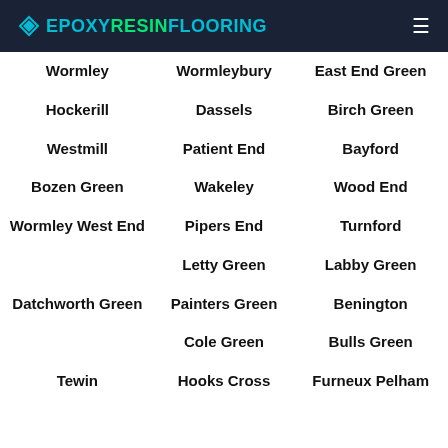EPOXY RESIN FLOORING
Wormley
Wormleybury
East End Green
Hockerill
Dassels
Birch Green
Westmill
Patient End
Bayford
Bozen Green
Wakeley
Wood End
Wormley West End
Pipers End
Turnford
Letty Green
Labby Green
Datchworth Green
Painters Green
Benington
Cole Green
Bulls Green
Tewin
Hooks Cross
Furneux Pelham